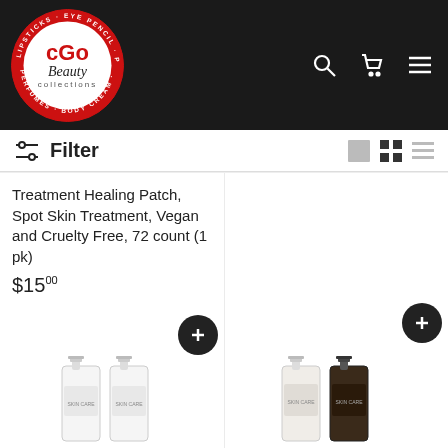[Figure (logo): CGO Beauty Collections circular logo with red border, white inner circle, red CGO text and Beauty Collections script text]
Filter
Treatment Healing Patch, Spot Skin Treatment, Vegan and Cruelty Free, 72 count (1 pk)
$15.00
[Figure (photo): Two white pump bottles of skincare product]
[Figure (photo): Two pump bottles of skincare product, one white and one dark]